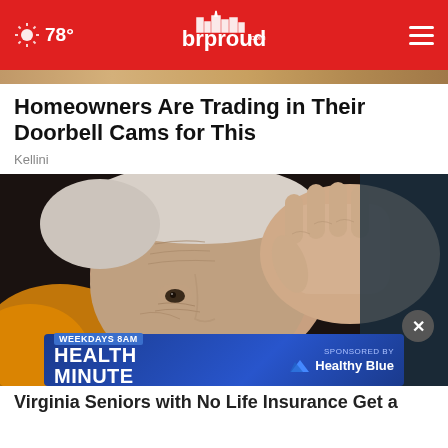78° brproud.com
[Figure (photo): Hero image strip - golden/tan colored image strip at top]
Homeowners Are Trading in Their Doorbell Cams for This
Kellini
[Figure (photo): Close-up photo of elderly woman with wrinkled face, hand raised to forehead, wearing orange clothing, looking distressed]
[Figure (infographic): Advertisement banner: WEEKDAYS 8AM HEALTH MINUTE SPONSORED BY Healthy Blue]
Virginia Seniors with No Life Insurance Get a